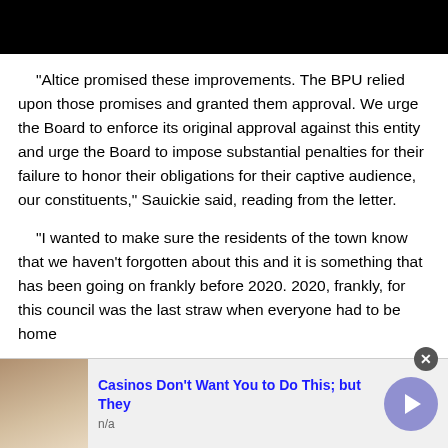[Figure (photo): Black image bar at top of page]
“Altice promised these improvements. The BPU relied upon those promises and granted them approval. We urge the Board to enforce its original approval against this entity and urge the Board to impose substantial penalties for their failure to honor their obligations for their captive audience, our constituents,” Sauickie said, reading from the letter.
“I wanted to make sure the residents of the town know that we haven’t forgotten about this and it is something that has been going on frankly before 2020. 2020, frankly, for this council was the last straw when everyone had to be home during the pandemic and were trying to get their jobs done.”
[Figure (photo): Advertisement banner: Casinos Don't Want You to Do This; but They | n/a]